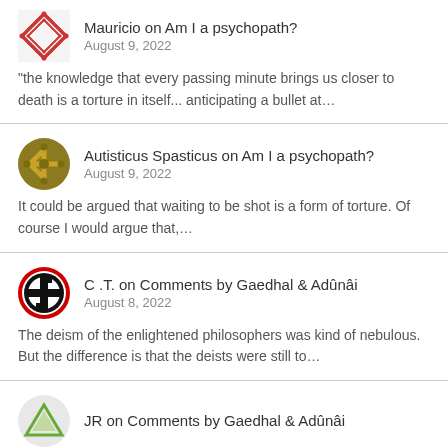Mauricio on Am I a psychopath? August 9, 2022 — "the knowledge that every passing minute brings us closer to death is a torture in itself... anticipating a bullet at…"
Autisticus Spasticus on Am I a psychopath? August 9, 2022 — It could be argued that waiting to be shot is a form of torture. Of course I would argue that,…
C .T. on Comments by Gaedhal & Adûnâi August 8, 2022 — The deism of the enlightened philosophers was kind of nebulous. But the difference is that the deists were still to…
JR on Comments by Gaedhal & Adûnâi